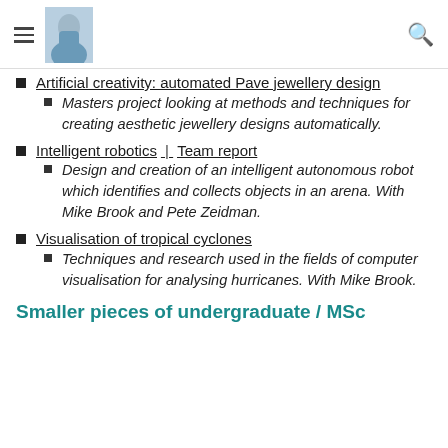Navigation header with hamburger menu, avatar photo, and search icon
Artificial creativity: automated Pave jewellery design
Masters project looking at methods and techniques for creating aesthetic jewellery designs automatically.
Intelligent robotics | Team report
Design and creation of an intelligent autonomous robot which identifies and collects objects in an arena. With Mike Brook and Pete Zeidman.
Visualisation of tropical cyclones
Techniques and research used in the fields of computer visualisation for analysing hurricanes. With Mike Brook.
Smaller pieces of undergraduate / MSc